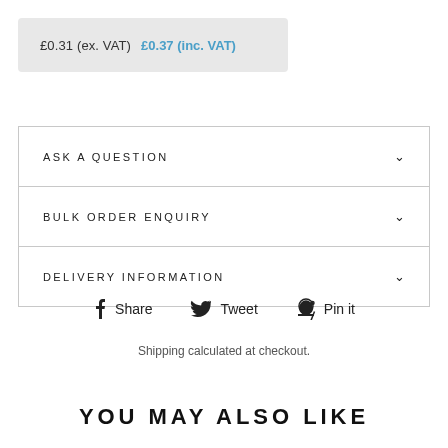£0.31 (ex. VAT)   £0.37 (inc. VAT)
ASK A QUESTION
BULK ORDER ENQUIRY
DELIVERY INFORMATION
Share   Tweet   Pin it
Shipping calculated at checkout.
YOU MAY ALSO LIKE